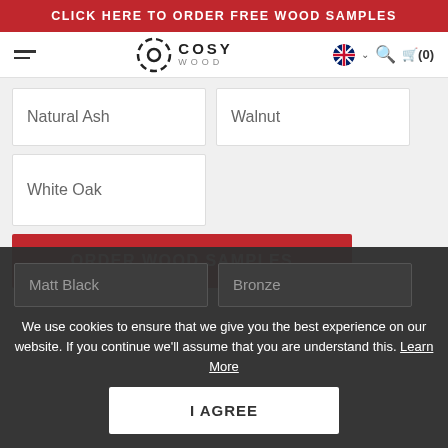CLICK HERE TO ORDER FREE WOOD SAMPLES
[Figure (logo): Cosy Wood logo with circular dashed ring icon and text 'COSY WOOD']
Natural Ash
Walnut
White Oak
ORDER WOOD SAMPLES
We use cookies to ensure that we give you the best experience on our website. If you continue we'll assume that you are understand this. Learn More
Matt Black
Bronze
I AGREE